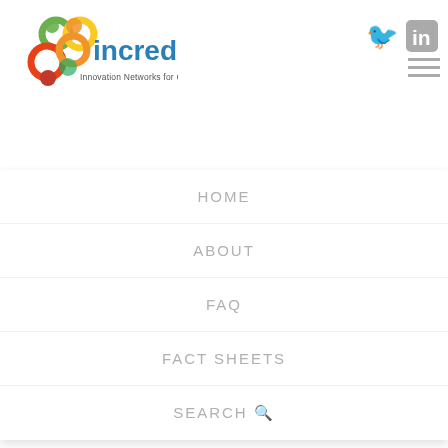[Figure (logo): INCREDIBLE project logo with colourful interlocked circles and text 'incredible — Innovation Networks for Cork, Resins & Edibles']
[Figure (logo): Twitter bird icon (grey)]
[Figure (logo): LinkedIn 'in' icon (grey)]
[Figure (other): Hamburger menu icon — three grey horizontal lines]
HOME
ABOUT
FAQ
FACT SHEETS
SEARCH
Displaying 1 - 3 of 3
Clonal variation in susceptibility to